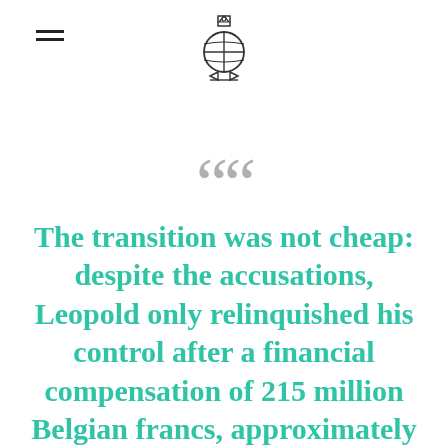[logo icon]
“The transition was not cheap: despite the accusations, Leopold only relinquished his control after a financial compensation of 215 million Belgian francs, approximately more than 2 billion dollars in